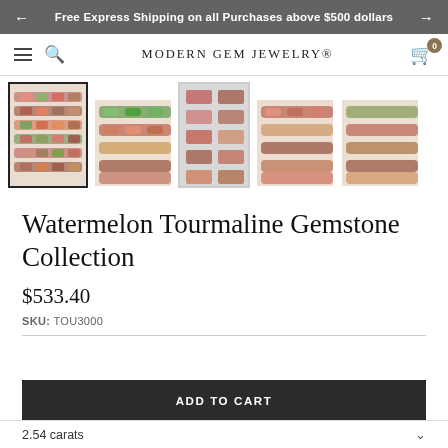Free Express Shipping on all Purchases above $500 dollars
MODERN GEM JEWELRY®
[Figure (photo): Five thumbnail images of Watermelon Tourmaline gemstone collections arranged in a row, showing various pink-red and green gemstones. The first thumbnail is selected with a black border.]
Watermelon Tourmaline Gemstone Collection
$533.40
SKU: TOU3000
ADD TO CART
2.54 carats